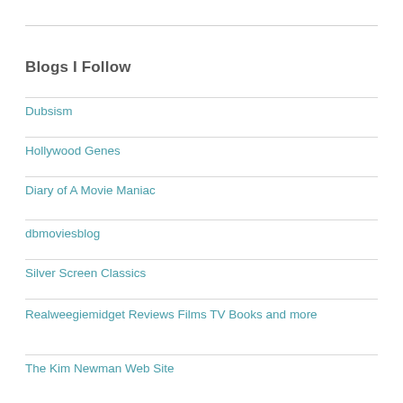Blogs I Follow
Dubsism
Hollywood Genes
Diary of A Movie Maniac
dbmoviesblog
Silver Screen Classics
Realweegiemidget Reviews Films TV Books and more
The Kim Newman Web Site